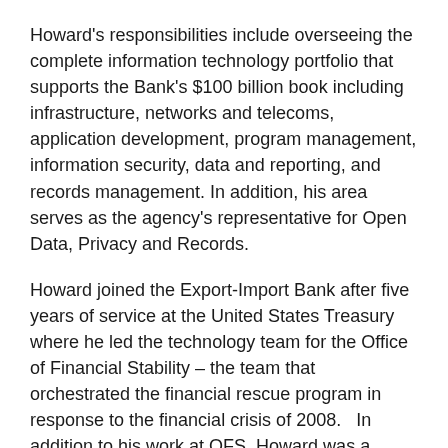Howard's responsibilities include overseeing the complete information technology portfolio that supports the Bank's $100 billion book including infrastructure, networks and telecoms, application development, program management, information security, data and reporting, and records management. In addition, his area serves as the agency's representative for Open Data, Privacy and Records.
Howard joined the Export-Import Bank after five years of service at the United States Treasury where he led the technology team for the Office of Financial Stability – the team that orchestrated the financial rescue program in response to the financial crisis of 2008.   In addition to his work at OFS, Howard was a frequent  participant and advisor on high-level IT strategy work for Treasury and the Office of Domestic Finance in areas related to financial services technology.
Prior to his federal service, Howard was a senior IT